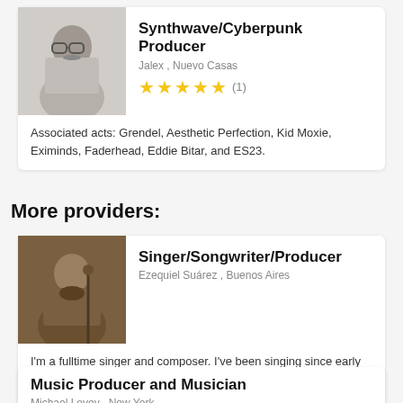[Figure (photo): Black and white photo of a man with glasses and a mustache]
Synthwave/Cyberpunk Producer
Jalex , Nuevo Casas
★★★★★ (1)
Associated acts: Grendel, Aesthetic Perfection, Kid Moxie, Eximinds, Faderhead, Eddie Bitar, and ES23.
More providers:
[Figure (photo): Sepia-toned photo of a bearded man with a guitar]
Singer/Songwriter/Producer
Ezequiel Suárez , Buenos Aires
I'm a fulltime singer and composer. I've been singing since early chilhood and I've been in the Rock scene for more than 20 years now. Singer-
Music Producer and Musician
Michael Levey , New York